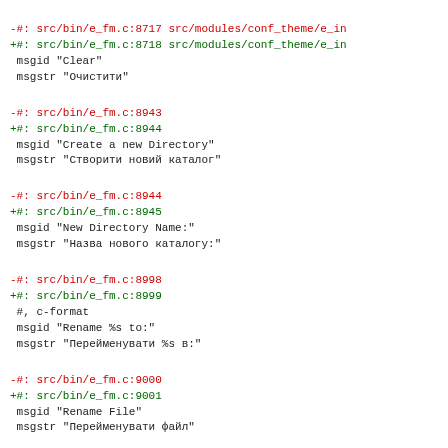-#: src/bin/e_fm.c:8717 src/modules/conf_theme/e_in
+#: src/bin/e_fm.c:8718 src/modules/conf_theme/e_in
 msgid "Clear"
 msgstr "Очистити"
-#: src/bin/e_fm.c:8943
+#: src/bin/e_fm.c:8944
 msgid "Create a new Directory"
 msgstr "Створити новий каталог"
-#: src/bin/e_fm.c:8944
+#: src/bin/e_fm.c:8945
 msgid "New Directory Name:"
 msgstr "Назва нового каталогу:"
-#: src/bin/e_fm.c:8998
+#: src/bin/e_fm.c:8999
 #, c-format
 msgid "Rename %s to:"
 msgstr "Перейменувати %s в:"
-#: src/bin/e_fm.c:9000
+#: src/bin/e_fm.c:9001
 msgid "Rename File"
 msgstr "Перейменувати файл"
-#: src/bin/e_fm.c:9141 src/bin/e_fm.c:9282
+#: src/bin/e_fm.c:9142 src/bin/e_fm.c:9283
 msgid "Retry"
 msgstr "Спробувати ще раз"